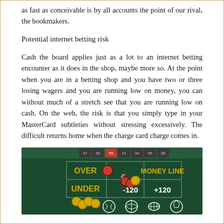as fast as conceivable is by all accounts the point of our rival, the bookmakers.
Potential internet betting risk
Cash the board applies just as a lot to an internet betting encounter as it does in the shop, maybe more so. At the point when you are in a betting shop and you have two or three losing wagers and you are running low on money, you can without much of a stretch see that you are running low on cash. On the web, the risk is that you simply type in your MasterCard subtleties without stressing excessively. The difficult returns home when the charge card charge comes in.
[Figure (photo): Sports betting board image showing OVER/UNDER and MONEY LINE with chips and sports ball icons on a dark green background. Shows -120 and +120 odds.]